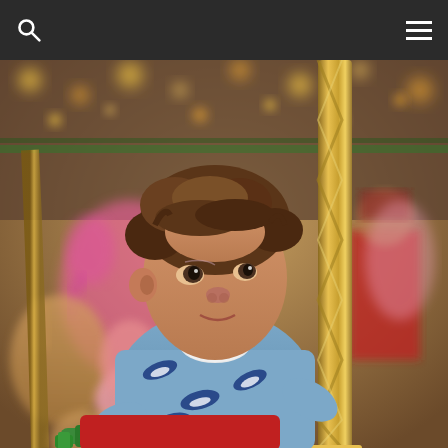Navigation bar with search and menu icons
[Figure (photo): A young boy with curly brown hair wearing a blue sweatshirt with whale/shark print, riding a colorful carousel. The background shows carousel animals (pink elephant, horse, camel) and other figures including a toy soldier in red uniform. The carousel has gold twisted poles and bokeh lights in the background.]